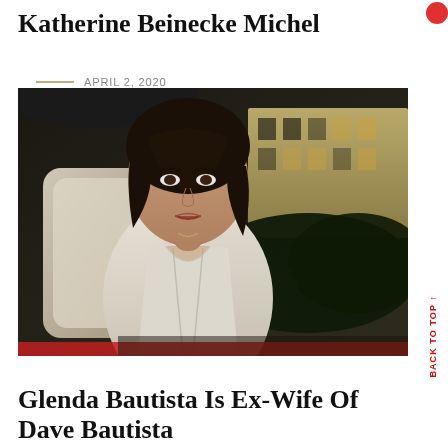Katherine Beinecke Michel
APRIL 2, 2020
[Figure (photo): A young woman with dark hair sitting in a white chair outdoors at night, wearing a white top. Background shows illuminated building and dark bushes/trees at night.]
Glenda Bautista Is Ex-Wife Of Dave Bautista